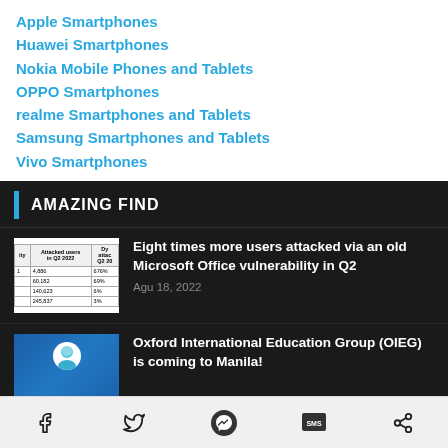Apple Smartphones
Huawei Smartphones
Nokia Mobile Phones and Tablets
OPPO Smartphones
realme Smartphones and Tablets
Samsung Smartphones and Tablets
Vivo Smartphones
AMAZING FIND
[Figure (screenshot): Thumbnail showing a table with columns for country, attacked users in Q2 2022, and dynamic attacks Q2 2022]
Eight times more users attacked via an old Microsoft Office vulnerability in Q2
Agu 18, 2022
[Figure (photo): Blue background image with a circular portrait of a person in medical/caregiver uniform and text 'Study & work as a caregiver']
Oxford International Education Group (OIEG) is coming to Manila!
Social share icons: Facebook, Twitter, Messenger, SMS, Share